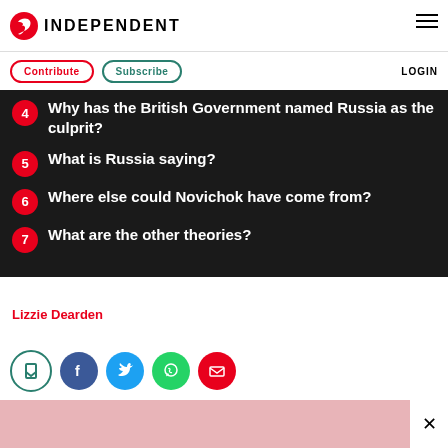INDEPENDENT
Contribute  Subscribe  LOGIN
4 Why has the British Government named Russia as the culprit?
5 What is Russia saying?
6 Where else could Novichok have come from?
7 What are the other theories?
Lizzie Dearden Home Affairs Correspondent
Friday 16 March 2018 13:09
[Figure (other): Social share icons: bookmark, Facebook, Twitter, WhatsApp, Email]
[Figure (photo): Partial pink-toned photograph at bottom of page]